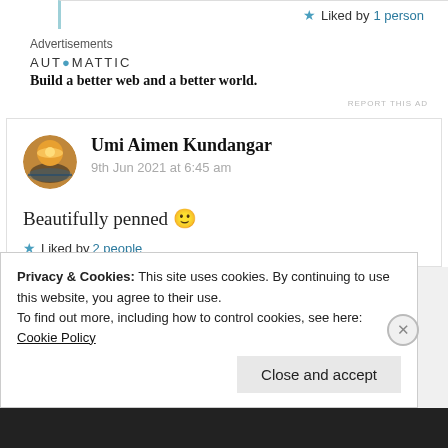★ Liked by 1 person
Advertisements
AUTOMATTIC
Build a better web and a better world.
REPORT THIS AD
Umi Aimen Kundangar
9th Jun 2021 at 6:45 am
Beautifully penned 🙂
★ Liked by 2 people
Privacy & Cookies: This site uses cookies. By continuing to use this website, you agree to their use.
To find out more, including how to control cookies, see here: Cookie Policy
Close and accept